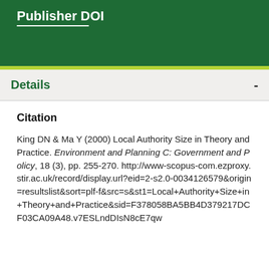Publisher DOI
Details
Citation
King DN & Ma Y (2000) Local Authority Size in Theory and Practice. Environment and Planning C: Government and Policy, 18 (3), pp. 255-270. http://www-scopus-com.ezproxy.stir.ac.uk/record/display.url?eid=2-s2.0-0034126579&origin=resultslist&sort=plf-f&src=s&st1=Local+Authority+Size+in+Theory+and+Practice&sid=F378058BA5BB4D379217DCF03CA09A48.v7ESLndDIsN8cE7qw